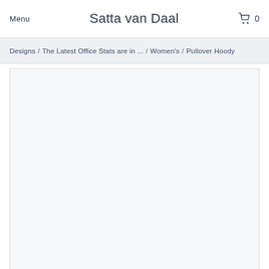Menu  Satta van Daal  0
Designs / The Latest Office Stats are in ... / Women's / Pullover Hoody
[Figure (other): White/light gray empty content area, product image placeholder]